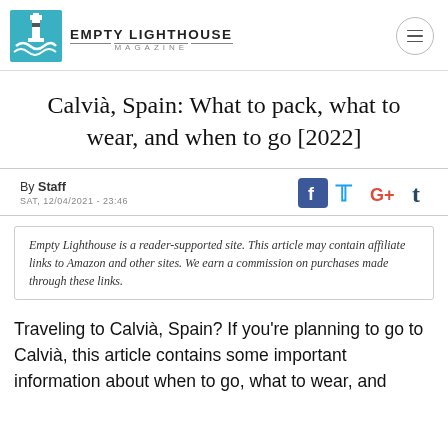Empty Lighthouse Magazine
Calvià, Spain: What to pack, what to wear, and when to go [2022]
By Staff
SAT, 12/04/2021 - 23:46
Empty Lighthouse is a reader-supported site. This article may contain affiliate links to Amazon and other sites. We earn a commission on purchases made through these links.
Traveling to Calvià, Spain? If you're planning to go to Calvià, this article contains some important information about when to go, what to wear, and